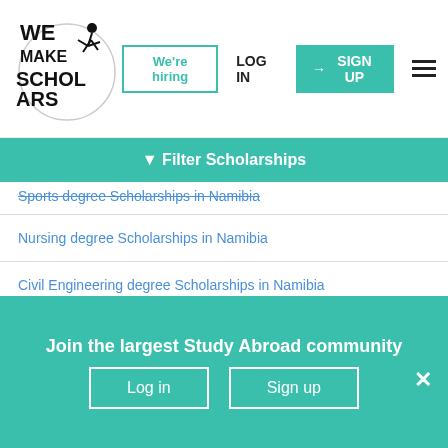[Figure (logo): We Make Scholars logo with circle and figure silhouette]
Filter Scholarships
Sports degree Scholarships in Namibia
Nursing degree Scholarships in Namibia
Civil Engineering degree Scholarships in Namibia
Mechanical Engineering degree Scholarships in Namibia
Film degree Scholarships in Namibia
Pharmacy degree Scholarships in Namibia
Join the largest Study Abroad community
Log in  Sign up